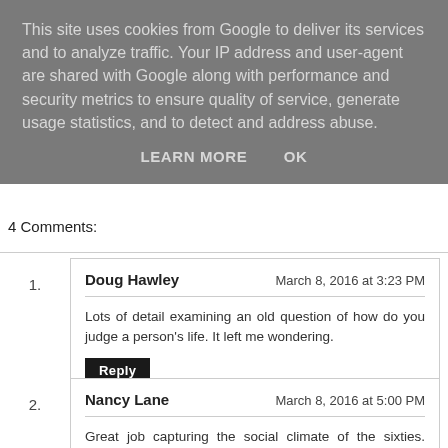This site uses cookies from Google to deliver its services and to analyze traffic. Your IP address and user-agent are shared with Google along with performance and security metrics to ensure quality of service, generate usage statistics, and to detect and address abuse.
LEARN MORE    OK
4 Comments:
1. Doug Hawley — March 8, 2016 at 3:23 PM — Lots of detail examining an old question of how do you judge a person's life. It left me wondering. [Reply]
2. Nancy Lane — March 8, 2016 at 5:00 PM — Great job capturing the social climate of the sixties. Good choice for how to present the story - deathbed